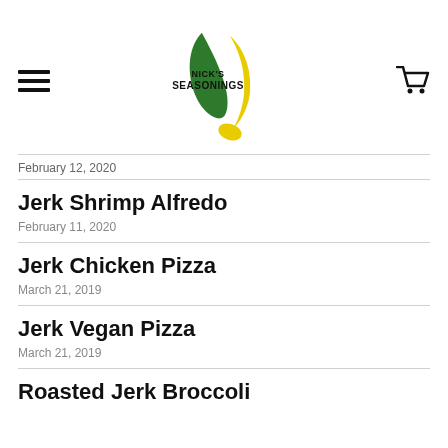Nick's Seasonings
February 12, 2020
Jerk Shrimp Alfredo
February 11, 2020
Jerk Chicken Pizza
March 21, 2019
Jerk Vegan Pizza
March 21, 2019
Roasted Jerk Broccoli